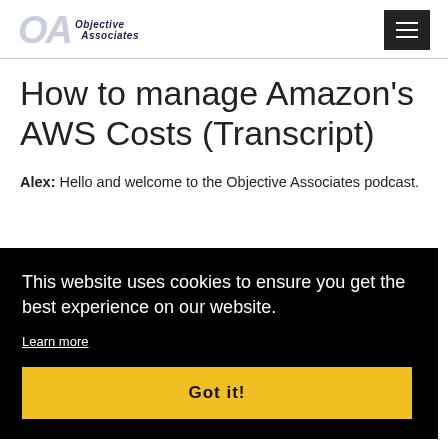Objective Associates
How to manage Amazon's AWS Costs (Transcript)
Alex: Hello and welcome to the Objective Associates podcast.
This website uses cookies to ensure you get the best experience on our website. Learn more Got it!
So Fraser, I guess the first thing to talk about is really the big